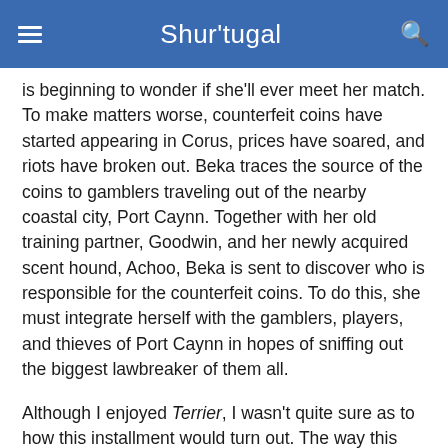Shur'tugal
is beginning to wonder if she'll ever meet her match. To make matters worse, counterfeit coins have started appearing in Corus, prices have soared, and riots have broken out. Beka traces the source of the coins to gamblers traveling out of the nearby coastal city, Port Caynn. Together with her old training partner, Goodwin, and her newly acquired scent hound, Achoo, Beka is sent to discover who is responsible for the counterfeit coins. To do this, she must integrate herself with the gamblers, players, and thieves of Port Caynn in hopes of sniffing out the biggest lawbreaker of them all.
Although I enjoyed Terrier, I wasn't quite sure as to how this installment would turn out. The way this series is set up is extremely different from Pierce's usual style, and I was still apprehensive about reading it. I can now safely say all